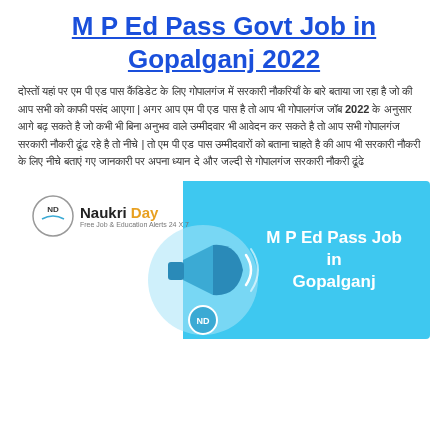M P Ed Pass Govt Job in Gopalganj 2022
दोस्तों यहां पर एम पी एड पास कैंडिडेट के लिए गोपालगंज में सरकारी नौकरियाँ के बारे बताया जा रहा है जो की आप सभी को काफी पसंद आएगा | अगर आप एम पी एड पास है तो आप भी गोपालगंज जॉब 2022 के अनुसार आगे बढ़ सकते है जो कभी भी बिना अनुभव वाले उम्मीदवार भी आवेदन कर सकते है तो आप सभी गोपालगंज सरकारी नौकरी ढूंढ रहे है तो नीचे | तो एम पी एड पास उम्मीदवारों को बताना चाहते है की आप भी सरकारी नौकरी के लिए नीचे बताएं गए जानकारी पर अपना ध्यान दे और जल्दी से गोपालगंज सरकारी नौकरी ढूंढे
[Figure (logo): Naukri Day banner image with logo on white left side and blue right side showing 'M P Ed Pass Job in Gopalganj' text with megaphone graphic]